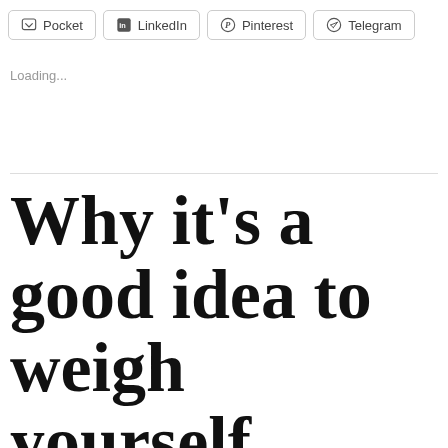Pocket  LinkedIn  Pinterest  Telegram
Loading...
Why it's a good idea to weigh yourself